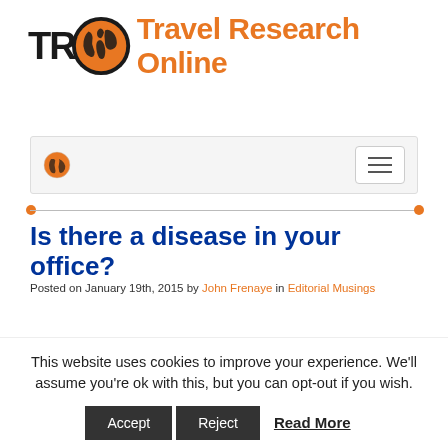[Figure (logo): Travel Research Online logo with TRO text and orange globe, followed by brand name in orange]
[Figure (screenshot): Navigation bar with orange globe icon on left and hamburger menu button on right]
Is there a disease in your office?
Posted on January 19th, 2015 by John Frenaye in Editorial Musings
[Figure (infographic): Social sharing buttons: Facebook, Twitter, LinkedIn, Reddit, Pinterest, Email, Print]
This website uses cookies to improve your experience. We'll assume you're ok with this, but you can opt-out if you wish.
Accept  Reject  Read More